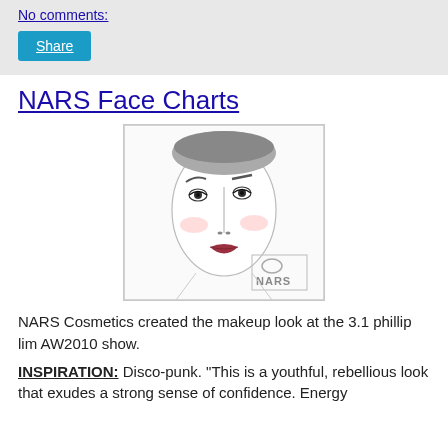No comments:
Share
NARS Face Charts
[Figure (illustration): NARS face chart illustration showing a stylized face with makeup — dark brow, dramatic eyeliner on both eyes, pink blush on cheeks, dark red lips, and NARS logo in bottom right corner]
NARS Cosmetics created the makeup look at the 3.1 phillip lim AW2010 show.
INSPIRATION: Disco-punk. "This is a youthful, rebellious look that exudes a strong sense of confidence. Energy